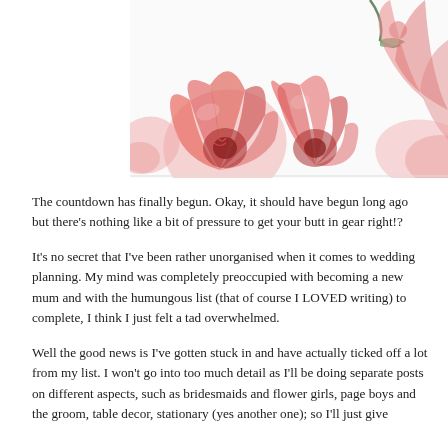[Figure (illustration): Watercolor illustration of large red/coral poppy flowers with green leaves on a white background, cropped to show the upper portion of the bouquet.]
The countdown has finally begun. Okay, it should have begun long ago but there's nothing like a bit of pressure to get your butt in gear right!?
It's no secret that I've been rather unorganised when it comes to wedding planning. My mind was completely preoccupied with becoming a new mum and with the humungous list (that of course I LOVED writing) to complete, I think I just felt a tad overwhelmed.
Well the good news is I've gotten stuck in and have actually ticked off a lot from my list. I won't go into too much detail as I'll be doing separate posts on different aspects, such as bridesmaids and flower girls, page boys and the groom, table decor, stationary (yes another one); so I'll just give